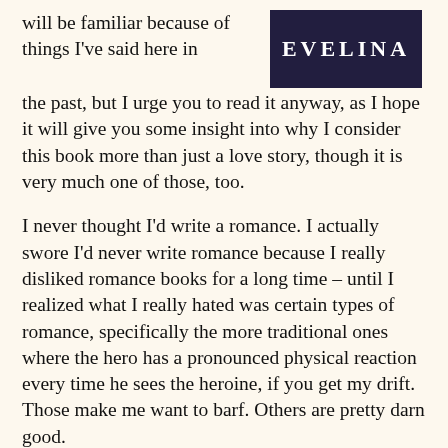will be familiar because of things I've said here in the past, but I urge you to read it anyway, as I hope it will give you some insight into why I consider this book more than just a love story, though it is very much one of those, too.
[Figure (photo): Book cover image with dark background and title 'EVELINA' in white serif letters]
I never thought I'd write a romance. I actually swore I'd never write romance because I really disliked romance books for a long time – until I realized what I really hated was certain types of romance, specifically the more traditional ones where the hero has a pronounced physical reaction every time he sees the heroine, if you get my drift. Those make me want to barf. Others are pretty darn good.
But I still had one pet peeve: most heroines, especially in romantic comedies, are under 30. If